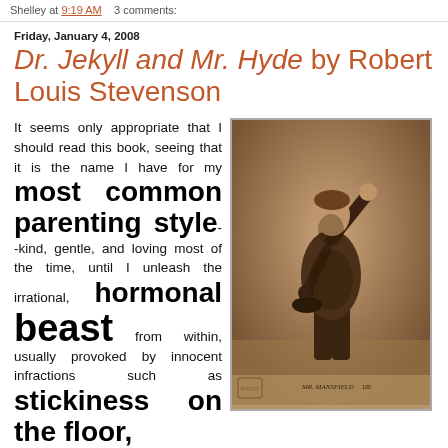Shelley at 9:19 AM   3 comments:
Friday, January 4, 2008
Dr. Jekyll and Mr. Hyde by Robert Louis Stevenson
It seems only appropriate that I should read this book, seeing that it is the name I have for my most common parenting style--kind, gentle, and loving most of the time, until I unleash the irrational, hormonal beast from within, usually provoked by innocent infractions such as stickiness on the floor,
[Figure (photo): Sepia-toned vintage photograph of a man (Mr. Mansfield) in period costume, posing dramatically with one arm raised.]